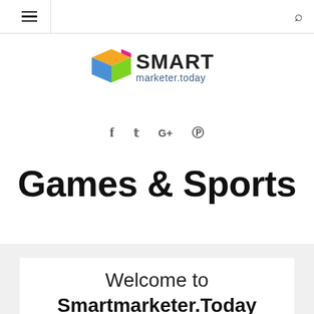≡  🔍
[Figure (logo): Smart marketer.today logo with colorful cube icon and text 'SMART marketer.today']
f  𝕥  G+   pinterest
Games & Sports
Welcome to Smartmarketer.Today